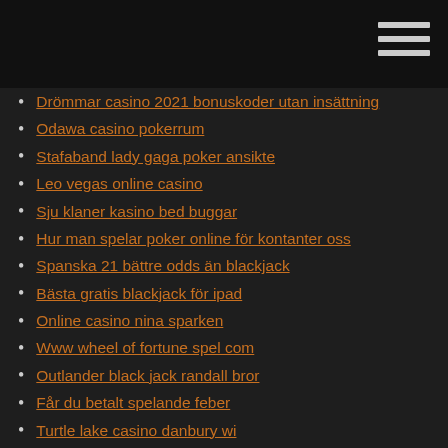Drömmar casino 2021 bonuskoder utan insättning
Odawa casino pokerrum
Stafaband lady gaga poker ansikte
Leo vegas online casino
Sju klaner kasino bed buggar
Hur man spelar poker online för kontanter oss
Spanska 21 bättre odds än blackjack
Bästa gratis blackjack för ipad
Online casino nina sparken
Www wheel of fortune spel com
Outlander black jack randall bror
Får du betalt spelande feber
Turtle lake casino danbury wi
Kom si gioca en poker texas holdem